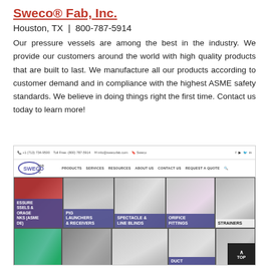Sweco® Fab, Inc.
Houston, TX  |  800-787-5914
Our pressure vessels are among the best in the industry. We provide our customers around the world with high quality products that are built to last. We manufacture all our products according to customer demand and in compliance with the highest ASME safety standards. We believe in doing things right the first time. Contact us today to learn more!
[Figure (screenshot): Screenshot of the Sweco Fab, Inc. website showing the company logo, navigation bar with PRODUCTS, SERVICES, RESOURCES, ABOUT US, CONTACT US, REQUEST A QUOTE, and a product grid featuring: PRESSURE VESSELS & STORAGE TANKS (ASME CODE), PIG LAUNCHERS & RECEIVERS, SPECTACLE & LINE BLINDS, ORIFICE FITTINGS, STRAINERS, and partial DUCT section, with a TOP button.]